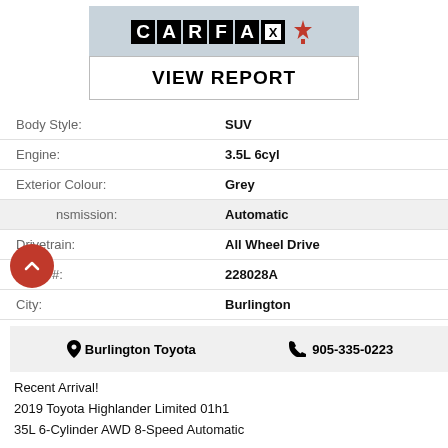[Figure (logo): CARFAX Canada logo with maple leaf and VIEW REPORT button]
| Field | Value |
| --- | --- |
| Body Style: | SUV |
| Engine: | 3.5L 6cyl |
| Exterior Colour: | Grey |
| Transmission: | Automatic |
| Drivetrain: | All Wheel Drive |
| Stock #: | 228028A |
| City: | Burlington |
Burlington Toyota   905-335-0223
Recent Arrival!
2019 Toyota Highlander Limited 01h1
35L 6-Cylinder AWD 8-Speed Automatic